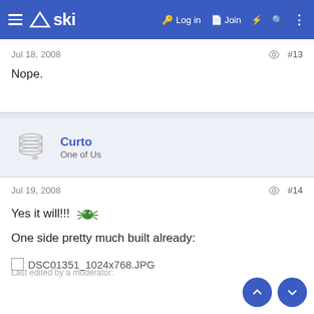≡ △ski  🔑 Log in  □ Join  ⚡ 🔍 ⋮
Jul 18, 2008   #13
Nope.
Curto
One of Us
Jul 19, 2008   #14
Yes it will!!!
One side pretty much built already:
[Figure (photo): Broken image placeholder labeled DSC01351_1024x768.JPG]
Last edited by a moderator: